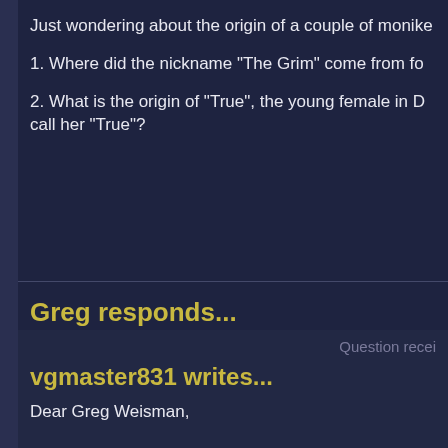Just wondering about the origin of a couple of monike
1. Where did the nickname "The Grim" come from fo
2. What is the origin of "True", the young female in D call her "True"?
Greg responds...
1. I think it's "in-story" origin is pretty clear from the s why I chose to use it... it had a few benefits:
1. Helps distinguish Kenneth III from Kenneth II.
2. Added a bit of tension as to who or what the Grim
3. Was useful to illustrate character for Grim and Mac
Question recei
vgmaster831 writes...
Dear Greg Weisman,